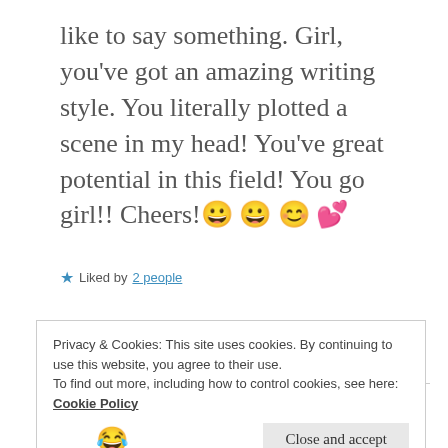like to say something. Girl, you've got an amazing writing style. You literally plotted a scene in my head! You've great potential in this field! You go girl!! Cheers!😀😀😊💕
★ Liked by 2 people
REPLY
ZEALOUS HOMO SAPIENS
17 May 2019 at 12:34 pm
Privacy & Cookies: This site uses cookies. By continuing to use this website, you agree to their use.
To find out more, including how to control cookies, see here: Cookie Policy
Close and accept
[Figure (illustration): Emoji face laughing with tears at bottom of page]